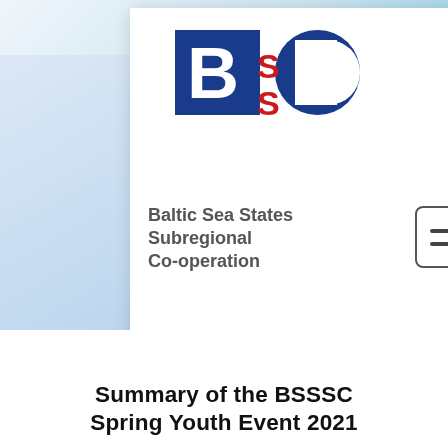[Figure (logo): BSSSC logo - blue squares with B and C letters, red S letters in the middle]
Baltic Sea States Subregional Co-operation
[Figure (logo): West Pomerania regional logo with colorful mosaic bird/region shape and text West Pomerania]
Summary of the BSSSC Spring Youth Event 2021